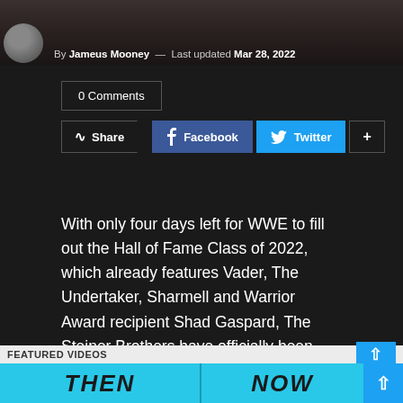[Figure (photo): Top of article photo with author avatar and byline: By Jameus Mooney — Last updated Mar 28, 2022]
By Jameus Mooney — Last updated Mar 28, 2022
0 Comments
Share Facebook Twitter +
With only four days left for WWE to fill out the Hall of Fame Class of 2022, which already features Vader, The Undertaker, Sharmell and Warrior Award recipient Shad Gaspard, The Steiner Brothers have officially been added after months of rumors.
FEATURED VIDEOS
[Figure (screenshot): THEN NOW featured video thumbnail bar]